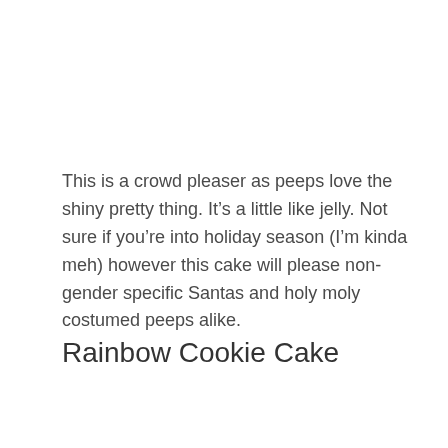This is a crowd pleaser as peeps love the shiny pretty thing. It's a little like jelly. Not sure if you're into holiday season (I'm kinda meh) however this cake will please non-gender specific Santas and holy moly costumed peeps alike.
Rainbow Cookie Cake